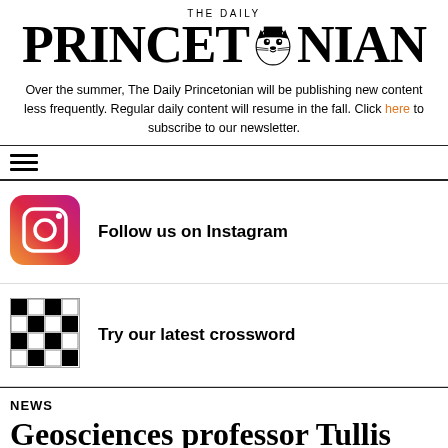THE DAILY PRINCETONIAN
Over the summer, The Daily Princetonian will be publishing new content less frequently. Regular daily content will resume in the fall. Click here to subscribe to our newsletter.
[Figure (illustration): Hamburger menu icon (three horizontal lines)]
[Figure (illustration): Instagram logo icon on a pink-to-orange gradient square background]
Follow us on Instagram
[Figure (illustration): Crossword puzzle grid thumbnail showing black and white squares]
Try our latest crossword
NEWS
Geosciences professor Tullis